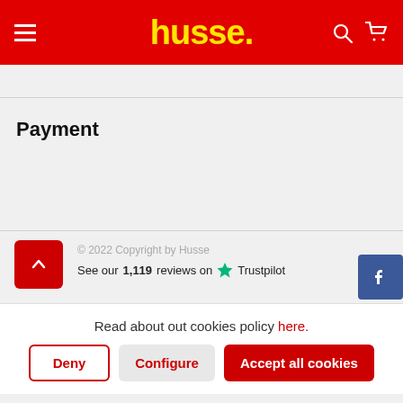husse.
Payment
© 2022 Copyright by Husse
See our 1,119 reviews on Trustpilot
Read about out cookies policy here.
Deny
Configure
Accept all cookies